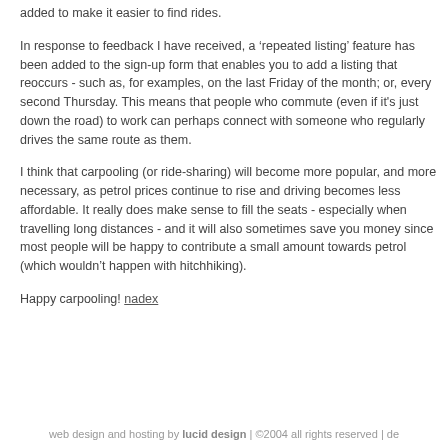added to make it easier to find rides.
In response to feedback I have received, a ‘repeated listing’ feature has been added to the sign-up form that enables you to add a listing that reoccurs - such as, for examples, on the last Friday of the month; or, every second Thursday. This means that people who commute (even if it's just down the road) to work can perhaps connect with someone who regularly drives the same route as them.
I think that carpooling (or ride-sharing) will become more popular, and more necessary, as petrol prices continue to rise and driving becomes less affordable. It really does make sense to fill the seats - especially when travelling long distances - and it will also sometimes save you money since most people will be happy to contribute a small amount towards petrol (which wouldn’t happen with hitchhiking).
Happy carpooling! nadex
web design and hosting by lucid design | ©2004 all rights reserved | de...